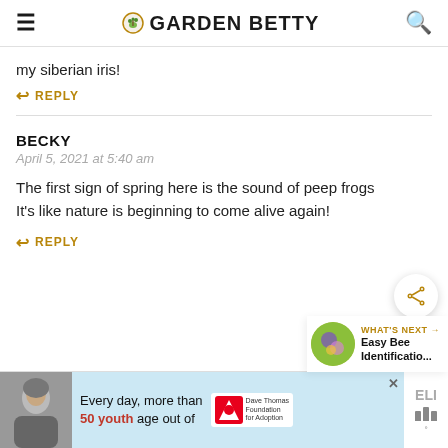GARDEN BETTY
my siberian iris!
↩ REPLY
BECKY
April 5, 2021 at 5:40 am
The first sign of spring here is the sound of peep frogs It's like nature is beginning to come alive again!
↩ REPLY
[Figure (screenshot): Advertisement banner: person in winter hat photo, blue background with text 'Every day, more than 50 youth age out of', Dave Thomas Foundation for Adoption logo, close button]
ELI